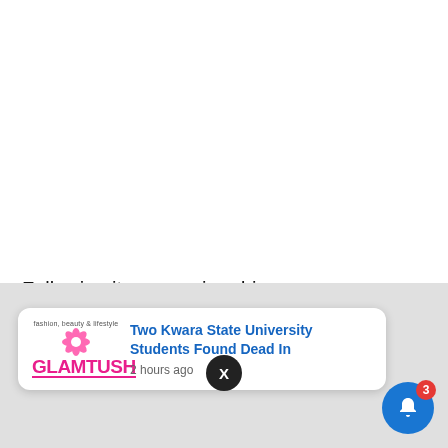Following its expansion drive, FrieslandCampina WAMCO acquired Nutricima factory in Ikorodu during the year under review. The acquisition underlines FrieslandCampina
[Figure (screenshot): Mobile notification overlay showing a GlamTush news notification: 'Two Kwara State University Students Found Dead In' posted 2 hours ago, with a close button (X) and a blue bell icon with badge count of 3]
Two Kwara State University Students Found Dead In
2 hours ago